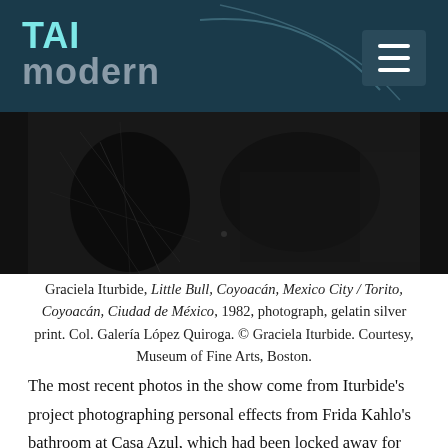TAI modern
[Figure (photo): Black and white photograph by Graciela Iturbide showing a dark scene, partially visible at top of content area]
Graciela Iturbide, Little Bull, Coyoacán, Mexico City / Torito, Coyoacán, Ciudad de México, 1982, photograph, gelatin silver print. Col. Galería López Quiroga. © Graciela Iturbide. Courtesy, Museum of Fine Arts, Boston.
The most recent photos in the show come from Iturbide's project photographing personal effects from Frida Kahlo's bathroom at Casa Azul, which had been locked away for fifty years. Iturbide focused "primarily on objects related to Kahlo's pain—from a box of Demerol, an opioid pain medication, to a